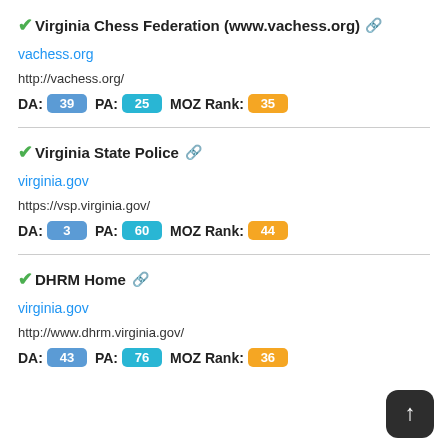✔Virginia Chess Federation (www.vachess.org) 🔗
vachess.org
http://vachess.org/
DA: 39 PA: 25 MOZ Rank: 35
✔Virginia State Police 🔗
virginia.gov
https://vsp.virginia.gov/
DA: 3 PA: 60 MOZ Rank: 44
✔DHRM Home 🔗
virginia.gov
http://www.dhrm.virginia.gov/
DA: 43 PA: 76 MOZ Rank: 36